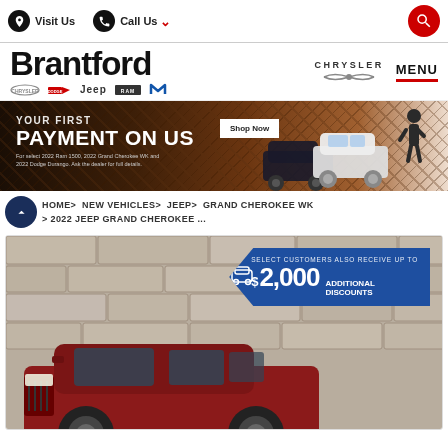Visit Us  Call Us  [search]
[Figure (logo): Brantford Chrysler dealership logo with brand marks: Chrysler, Dodge, Jeep, RAM, Mopar]
[Figure (photo): Promotional banner: YOUR FIRST PAYMENT ON US. Shop Now button. Shows SUVs and a man in a desert/rocky setting.]
HOME > NEW VEHICLES > JEEP > GRAND CHEROKEE WK > 2022 JEEP GRAND CHEROKEE ...
[Figure (photo): 2022 Jeep Grand Cherokee in red, parked in front of stone wall. Badge overlay: SELECT CUSTOMERS ALSO RECEIVE UP TO $2,000 ADDITIONAL DISCOUNTS]